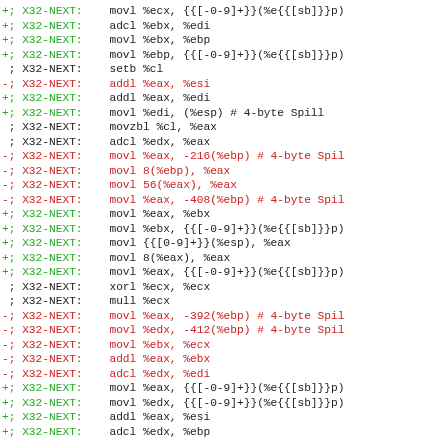Assembly diff listing showing added (+), removed (-), and unchanged lines with X32-NEXT labels and instruction mnemonics